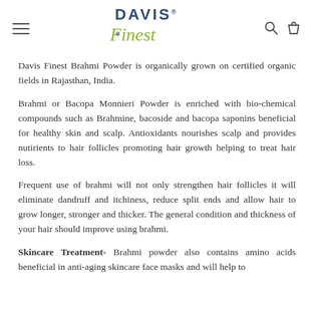Davis Finest [logo]
Davis Finest Brahmi Powder is organically grown on certified organic fields in Rajasthan, India.
Brahmi or Bacopa Monnieri Powder is enriched with bio-chemical compounds such as Brahmine, bacoside and bacopa saponins beneficial for healthy skin and scalp. Antioxidants nourishes scalp and provides nutirients to hair follicles promoting hair growth helping to treat hair loss.
Frequent use of brahmi will not only strengthen hair follicles it will eliminate dandruff and itchiness, reduce split ends and allow hair to grow longer, stronger and thicker. The general condition and thickness of your hair should improve using brahmi.
Skincare Treatment- Brahmi powder also contains amino acids beneficial in anti-aging skincare face masks and will help to